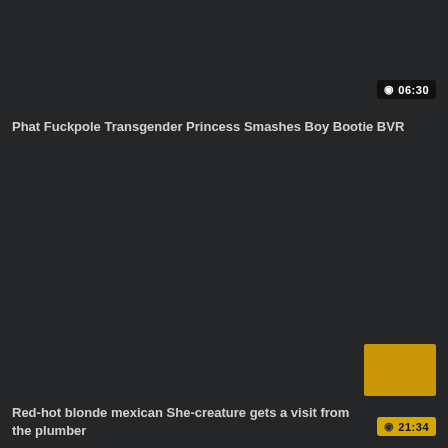[Figure (screenshot): Video thumbnail placeholder - dark background, top card]
⊙ 06:30
Phat Fuckpole Transgender Princess Smashes Boy Bootie BVR
[Figure (screenshot): Video thumbnail placeholder - dark background with yellow thumbnail preview, bottom card]
⊙ 21:34
Red-hot blonde mexican She-creature gets a visit from the plumber